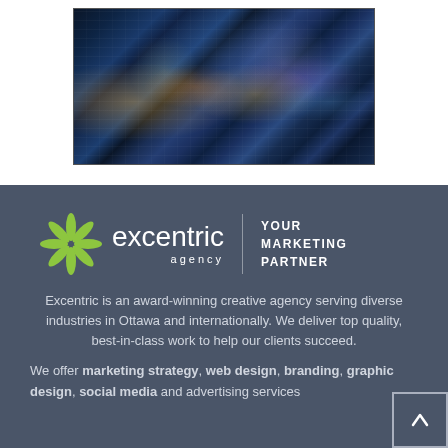[Figure (photo): Aerial night photograph of a city skyline with blue and orange illuminated buildings and digital network overlay circles and connecting lines]
[Figure (logo): Excentric agency logo: green snowflake/asterisk icon, white text 'excentric' with 'agency' below, vertical divider line, and 'YOUR MARKETING PARTNER' tagline in white uppercase text]
Excentric is an award-winning creative agency serving diverse industries in Ottawa and internationally. We deliver top quality, best-in-class work to help our clients succeed.
We offer marketing strategy, web design, branding, graphic design, social media and advertising services